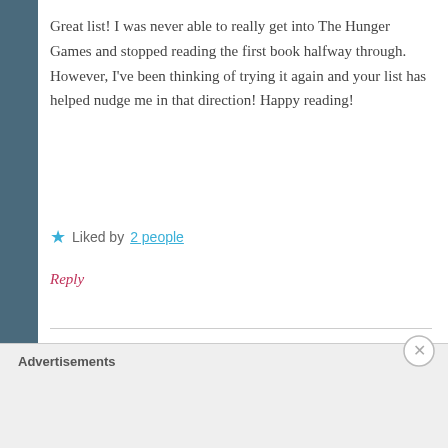Great list! I was never able to really get into The Hunger Games and stopped reading the first book halfway through. However, I've been thinking of trying it again and your list has helped nudge me in that direction! Happy reading!
★ Liked by 2 people
Reply
One Book More
MAY 20, 2020 AT 11:39 AM
Advertisements